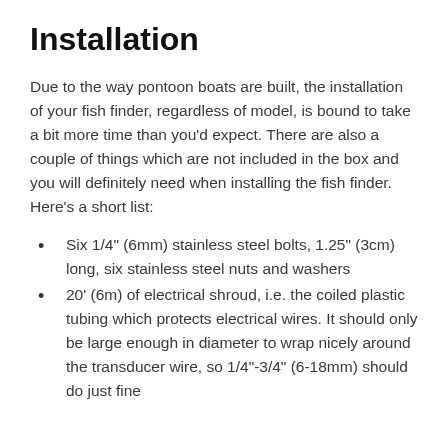Installation
Due to the way pontoon boats are built, the installation of your fish finder, regardless of model, is bound to take a bit more time than you'd expect. There are also a couple of things which are not included in the box and you will definitely need when installing the fish finder. Here's a short list:
Six 1/4" (6mm) stainless steel bolts, 1.25" (3cm) long, six stainless steel nuts and washers
20' (6m) of electrical shroud, i.e. the coiled plastic tubing which protects electrical wires. It should only be large enough in diameter to wrap nicely around the transducer wire, so 1/4"-3/4" (6-18mm) should do just fine